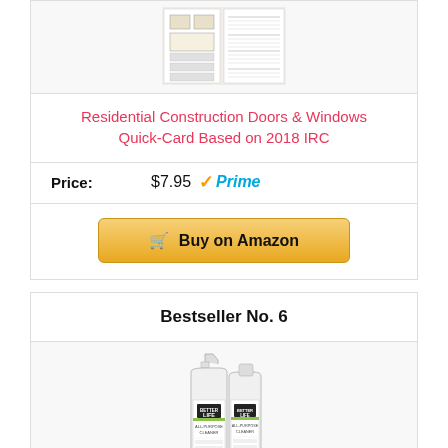[Figure (photo): Quick-card product image showing technical diagrams]
Residential Construction Doors & Windows Quick-Card Based on 2018 IRC
Price: $7.95 ✓Prime
[Figure (illustration): Buy on Amazon button]
Bestseller No. 6
[Figure (photo): Better Life All-Purpose Cleaner bottles]